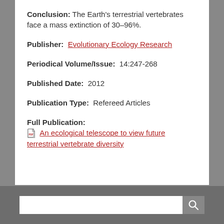Conclusion: The Earth's terrestrial vertebrates face a mass extinction of 30–96%.
Publisher: Evolutionary Ecology Research
Periodical Volume/Issue: 14:247-268
Published Date: 2012
Publication Type: Refereed Articles
Full Publication: An ecological telescope to view future terrestrial vertebrate diversity